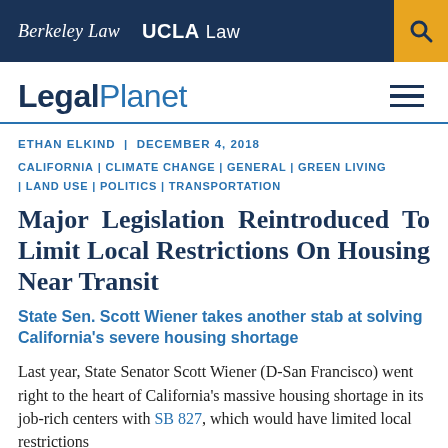Berkeley Law | UCLA Law
LegalPlanet
ETHAN ELKIND | DECEMBER 4, 2018
CALIFORNIA | CLIMATE CHANGE | GENERAL | GREEN LIVING | LAND USE | POLITICS | TRANSPORTATION
Major Legislation Reintroduced To Limit Local Restrictions On Housing Near Transit
State Sen. Scott Wiener takes another stab at solving California's severe housing shortage
Last year, State Senator Scott Wiener (D-San Francisco) went right to the heart of California's massive housing shortage in its job-rich centers with SB 827, which would have limited local restrictions